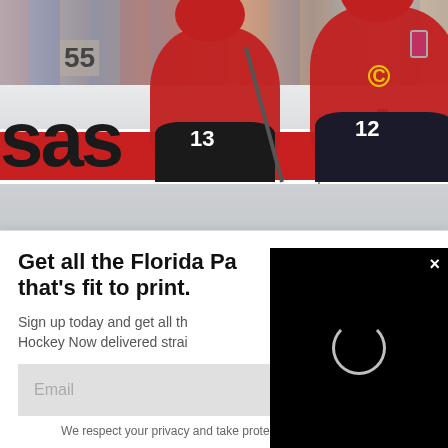[Figure (photo): Hockey photo showing Carolina Hurricanes players in red jerseys (#13 and #12 with captain C) on the ice, with crowd in background and advertising boards showing 'sas' and 'der' text]
[Figure (screenshot): Black video panel with loading spinner and X close button overlaid on top right of modal]
Get all the Florida Pa that's fit to print.
Sign up today and get all th Hockey Now delivered strai
Email
SIGN UP!
We respect your privacy and take protecting it seriously
No thanks. I don't want.
GET FHN IN YOUR INBOX!